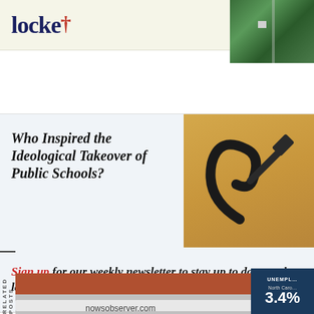locke
[Figure (photo): Aerial view of farmland with green fields and a small house]
Who Inspired the Ideological Takeover of Public Schools?
[Figure (photo): Hammer and sickle communist symbol on wooden background]
Sign up for our weekly newsletter to stay up to date on the latest happenings in North Carolina.
RELATED POSTS
[Figure (photo): Building with brick exterior and sign reading nowsobserver.com]
[Figure (infographic): Unemployment data card showing North Carolina 3.4%]